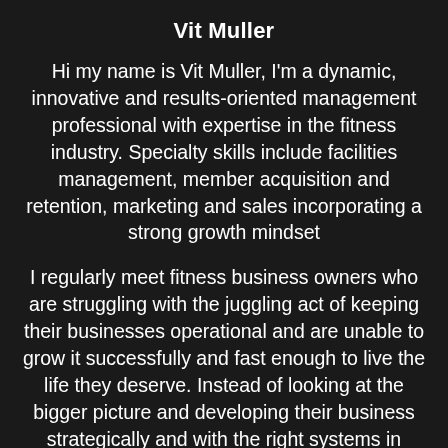Vit Muller
Hi my name is Vit Muller, I'm a dynamic, innovative and results-oriented management professional with expertise in the fitness industry. Specialty skills include facilities management, member acquisition and retention, marketing and sales incorporating a strong growth mindset
I regularly meet fitness business owners who are struggling with the juggling act of keeping their businesses operational and are unable to grow it successfully and fast enough to live the life they deserve. Instead of looking at the bigger picture and developing their business strategically and with the right systems in